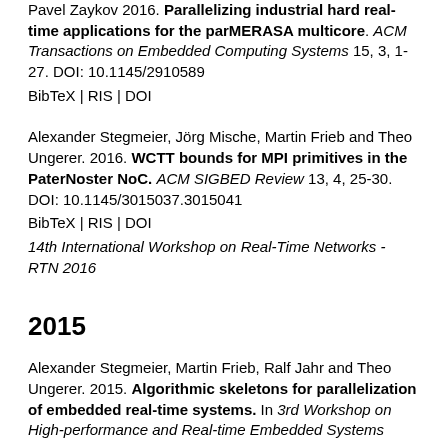Pavel Zaykov 2016. Parallelizing industrial hard real-time applications for the parMERASA multicore. ACM Transactions on Embedded Computing Systems 15, 3, 1-27. DOI: 10.1145/2910589
BibTeX | RIS | DOI
Alexander Stegmeier, Jörg Mische, Martin Frieb and Theo Ungerer. 2016. WCTT bounds for MPI primitives in the PaterNoster NoC. ACM SIGBED Review 13, 4, 25-30. DOI: 10.1145/3015037.3015041
BibTeX | RIS | DOI
14th International Workshop on Real-Time Networks - RTN 2016
2015
Alexander Stegmeier, Martin Frieb, Ralf Jahr and Theo Ungerer. 2015. Algorithmic skeletons for parallelization of embedded real-time systems. In 3rd Workshop on High-performance and Real-time Embedded Systems